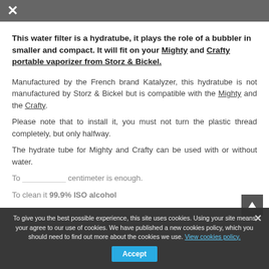× [header bar with close button]
This water filter is a hydratube, it plays the role of a bubbler in smaller and compact. It will fit on your Mighty and Crafty portable vaporizer from Storz & Bickel.
Manufactured by the French brand Katalyzer, this hydratube is not manufactured by Storz & Bickel but is compatible with the Mighty and the Crafty.
Please note that to install it, you must not turn the plastic thread completely, but only halfway.
The hydrate tube for Mighty and Crafty can be used with or without water.
To clean it 99.9% ISO alcohol
To give you the best possible experience, this site uses cookies. Using your site means your agree to our use of cookies. We have published a new cookies policy, which you should need to find out more about the cookies we use. View cookies policy. Accept